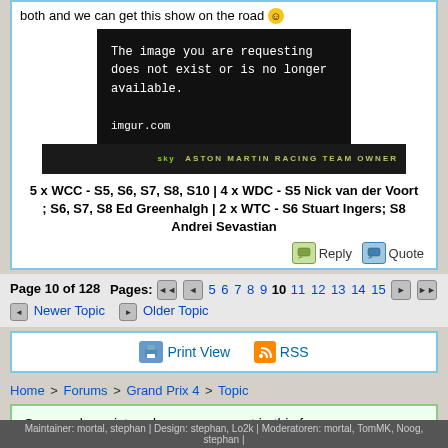both and we can get this show on the road 🙂
[Figure (screenshot): Black placeholder image showing 'The image you are requesting does not exist or is no longer available.' with imgur.com text, overlaid on a dark racing car banner showing Aston Martin Racing Team Owner text]
5 x WCC - S5, S6, S7, S8, S10 | 4 x WDC - S5 Nick van der Voort ; S6, S7, S8 Ed Greenhalgh | 2 x WTC - S6 Stuart Ingers; S8 Andrei Sevastian
Reply  Quote
Page 10 of 128  Pages: 5 6 7 8 9 10 11 12 13 14 15
Newer Topic  Older Topic
Print View  RSS
Home > Forums > Grand Prix 4 > Topic
Sorry, only registered users may post in this forum. Click here to login
Maintainer: mortal, stephan | Design: stephan, Lo2k | Moderatoren: mortal, TomMK, Noog, stephan |